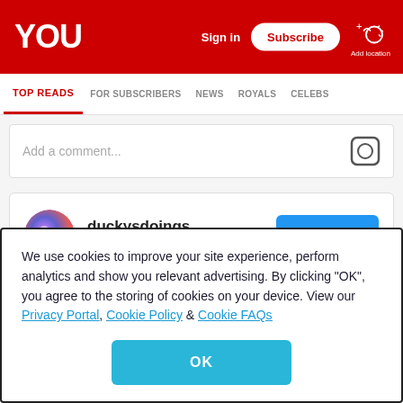YOU — Sign in | Subscribe | Add location
TOP READS | FOR SUBSCRIBERS | NEWS | ROYALS | CELEBS
Add a comment...
duckysdoings
11.3K followers
View profile
We use cookies to improve your site experience, perform analytics and show you relevant advertising. By clicking "OK", you agree to the storing of cookies on your device. View our Privacy Portal, Cookie Policy & Cookie FAQs
OK